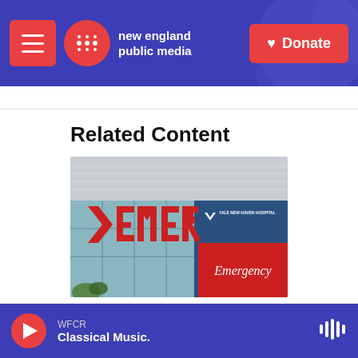new england public media | Donate
Related Content
[Figure (photo): Yale New Haven Hospital Emergency sign — red 3D letters spelling EMERGENCY with a Yale New Haven Hospital signboard below showing a red Emergency panel]
Regional News
WFCR Classical Music.